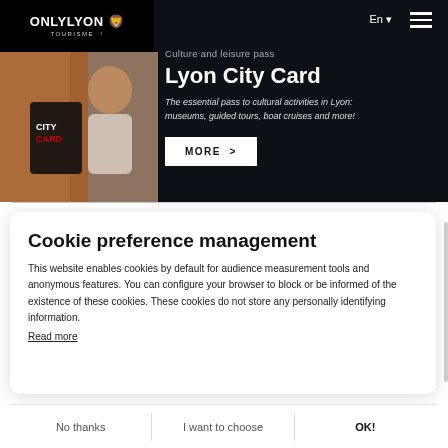[Figure (screenshot): ONLYLYON Tourism logo on black background in top-left corner]
[Figure (photo): Woman holding Lyon City Card, smiling, wearing sunglasses and a hat]
Culture and leisure pass
Lyon City Card
The essential pass to cultural activities in Lyon: museums, guided tours, boat cruises and more!
MORE >
Cookie preference management
This website enables cookies by default for audience measurement tools and anonymous features. You can configure your browser to block or be informed of the existence of these cookies. These cookies do not store any personally identifying information.
Read more
No thanks
I want to choose
OK!